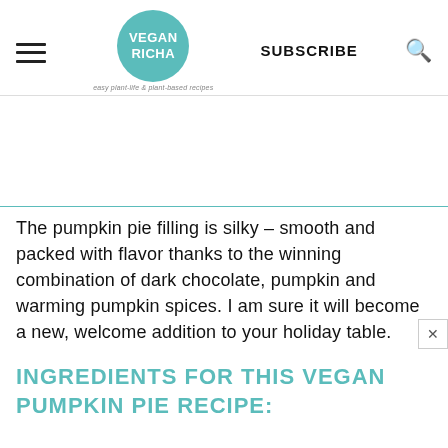VEGAN RICHA | SUBSCRIBE
The pumpkin pie filling is silky – smooth and packed with flavor thanks to the winning combination of dark chocolate, pumpkin and warming pumpkin spices. I am sure it will become a new, welcome addition to your holiday table.
INGREDIENTS FOR THIS VEGAN PUMPKIN PIE RECIPE: